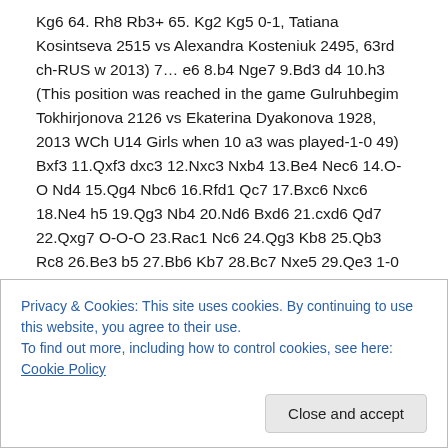Kg6 64. Rh8 Rb3+ 65. Kg2 Kg5 0-1, Tatiana Kosintseva 2515 vs Alexandra Kosteniuk 2495, 63rd ch-RUS w 2013) 7… e6 8.b4 Nge7 9.Bd3 d4 10.h3 (This position was reached in the game Gulruhbegim Tokhirjonova 2126 vs Ekaterina Dyakonova 1928, 2013 WCh U14 Girls when 10 a3 was played-1-0 49) Bxf3 11.Qxf3 dxc3 12.Nxc3 Nxb4 13.Be4 Nec6 14.O-O Nd4 15.Qg4 Nbc6 16.Rfd1 Qc7 17.Bxc6 Nxc6 18.Ne4 h5 19.Qg3 Nb4 20.Nd6 Bxd6 21.cxd6 Qd7 22.Qxg7 O-O-O 23.Rac1 Nc6 24.Qg3 Kb8 25.Qb3 Rc8 26.Be3 b5 27.Bb6 Kb7 28.Bc7 Nxe5 29.Qe3 1-0
Privacy & Cookies: This site uses cookies. By continuing to use this website, you agree to their use.
To find out more, including how to control cookies, see here: Cookie Policy